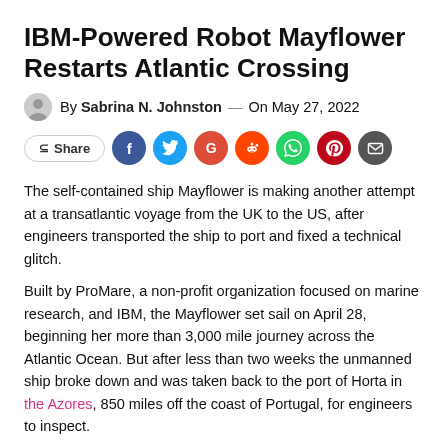IBM-Powered Robot Mayflower Restarts Atlantic Crossing
By Sabrina N. Johnston — On May 27, 2022
[Figure (other): Social share buttons row: Share button, Facebook, Twitter, Google+, Reddit, WhatsApp, Pinterest, Email]
The self-contained ship Mayflower is making another attempt at a transatlantic voyage from the UK to the US, after engineers transported the ship to port and fixed a technical glitch.
Built by ProMare, a non-profit organization focused on marine research, and IBM, the Mayflower set sail on April 28, beginning her more than 3,000 mile journey across the Atlantic Ocean. But after less than two weeks the unmanned ship broke down and was taken back to the port of Horta in the Azores, 850 miles off the coast of Portugal, for engineers to inspect.